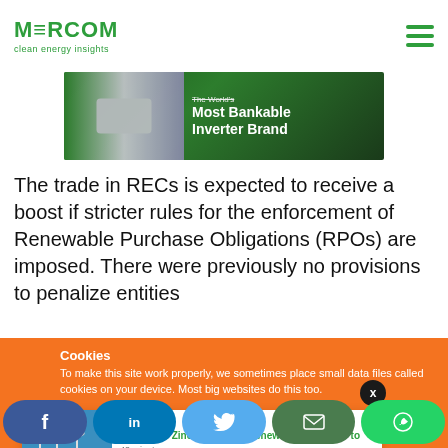MERCOM clean energy insights
[Figure (photo): Advertisement banner showing an inverter device against a green forest background with text 'The World's Most Bankable Inverter Brand']
The trade in RECs is expected to receive a boost if stricter rules for the enforcement of Renewable Purchase Obligations (RPOs) are imposed. There were previously no provisions to penalize entities
Cookies
To make this site work properly, we sometimes place small data files called cookies on your device. Most big websites do this too.
[Figure (photo): Related article card: Hindustan Zinc to Procure Renewable Power up to - 48 minutes ago, with wind turbines image]
[Figure (infographic): Social share buttons: Facebook, LinkedIn, Twitter, Email, WhatsApp]